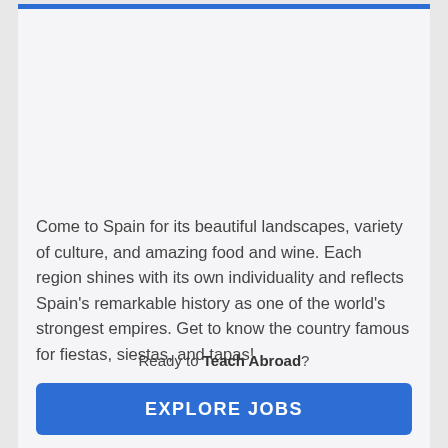Come to Spain for its beautiful landscapes, variety of culture, and amazing food and wine. Each region shines with its own individuality and reflects Spain's remarkable history as one of the world's strongest empires. Get to know the country famous for fiestas, siestas, and tapas!
Ready to Teach Abroad?
EXPLORE JOBS